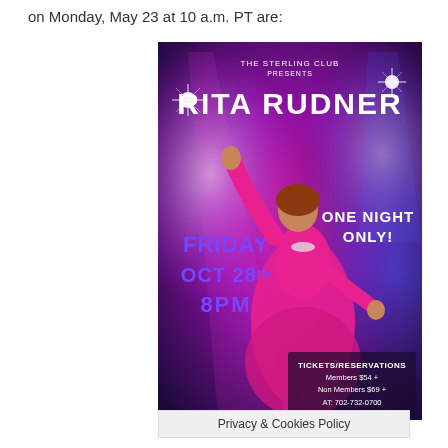on Monday, May 23 at 10 a.m. PT are:
[Figure (illustration): Event poster for Rita Rudner at The Sterling Club. Dark purple/magenta background with stage lighting effects. Woman in pink dress with one arm raised. Text: THE STERLING CLUB PRESENTS RITA RUDNER ONE NIGHT ONLY! FRIDAY OCT 28th 8PM TICKETS/RESERVATIONS Members $54+ Non Members $69+ AT: 702-732-0700]
Privacy & Cookies Policy